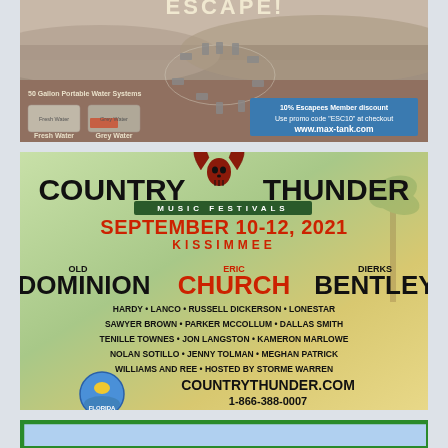[Figure (photo): Advertisement for max-tank.com showing aerial desert photo of vehicles arranged in a circle, with 50-gallon portable water systems (fresh water and grey water tanks). Blue promo box: '10% Escapees Member discount / Use promo code ESC10 at checkout / www.max-tank.com']
[Figure (photo): Country Thunder Music Festivals advertisement. September 10-12, 2021, Kissimmee. Headliners: Old Dominion, Eric Church, Dierks Bentley. Lineup: Hardy, Lanco, Russell Dickerson, Lonestar, Sawyer Brown, Parker McCollum, Dallas Smith, Tenille Townes, Jon Langston, Kameron Marlowe, Nolan Sotillo, Jenny Tolman, Meghan Patrick, Williams and Ree, Hosted by Storme Warren. CountryThunder.com 1-866-388-0007]
[Figure (photo): Partial third advertisement visible at bottom of page, showing blue/sky background with green border.]